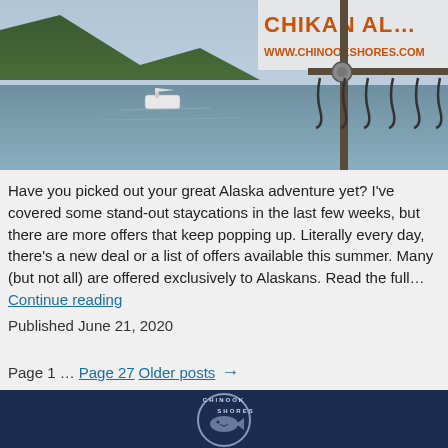[Figure (photo): Photograph of an Alaskan waterway with a boat on calm water, green forested hills in background, and a sign reading 'CHIKAN ALI' with URL www.chinookshores.com. Fish-hook rack visible in foreground right.]
Have you picked out your great Alaska adventure yet? I've covered some stand-out staycations in the last few weeks, but there are more offers that keep popping up. Literally every day, there's a new deal or a list of offers available this summer. Many (but not all) are offered exclusively to Alaskans. Read the full… Continue reading
Published June 21, 2020
Page 1 … Page 27 Older posts →
[Figure (logo): Chinook Shores circular logo with fish illustration on dark navy background]